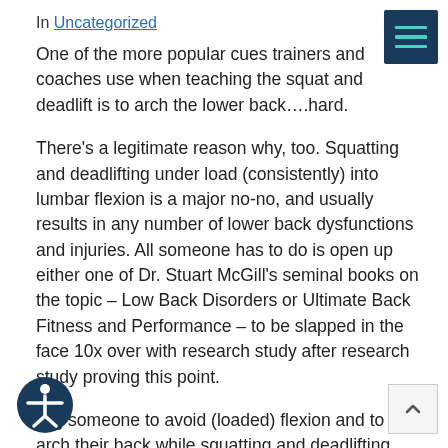In Uncategorized
One of the more popular cues trainers and coaches use when teaching the squat and deadlift is to arch the lower back….hard.
There's a legitimate reason why, too. Squatting and deadlifting under load (consistently) into lumbar flexion is a major no-no, and usually results in any number of lower back dysfunctions and injuries. All someone has to do is open up either one of Dr. Stuart McGill's seminal books on the topic – Low Back Disorders or Ultimate Back Fitness and Performance – to be slapped in the face 10x over with research study after research study proving this point.
…g someone to avoid (loaded) flexion and to arch their back while squatting and deadlifting engages the muscles of